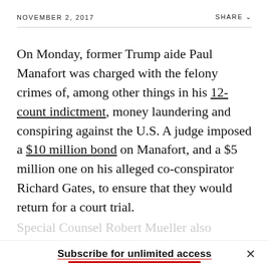NOVEMBER 2, 2017    SHARE ∨
On Monday, former Trump aide Paul Manafort was charged with the felony crimes of, among other things in his 12-count indictment, money laundering and conspiring against the U.S. A judge imposed a $10 million bond on Manafort, and a $5 million one on his alleged co-conspirator Richard Gates, to ensure that they would return for a court trial.
Subscribe for unlimited access